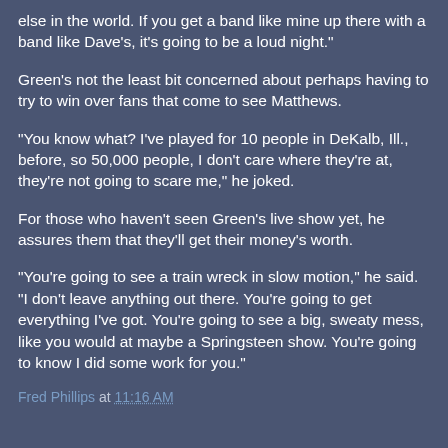else in the world. If you get a band like mine up there with a band like Dave's, it's going to be a loud night."
Green's not the least bit concerned about perhaps having to try to win over fans that come to see Matthews.
"You know what? I've played for 10 people in DeKalb, Ill., before, so 50,000 people, I don't care where they're at, they're not going to scare me," he joked.
For those who haven't seen Green's live show yet, he assures them that they'll get their money's worth.
"You're going to see a train wreck in slow motion," he said. "I don't leave anything out there. You're going to get everything I've got. You're going to see a big, sweaty mess, like you would at maybe a Springsteen show. You're going to know I did some work for you."
Fred Phillips at 11:16 AM